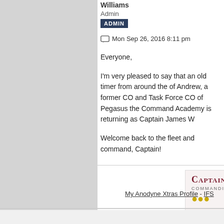Williams
Admin
ADMIN
Mon Sep 26, 2016 8:11 pm
Everyone,
I'm very pleased to say that an old timer from around the of Andrew, a former CO and Task Force CO of Pegasus the Command Academy is returning as Captain James W
Welcome back to the fleet and command, Captain!
[Figure (other): Signature block with text 'Captain Tim Williams, Commanding Officer, USS Highl' and gold star icons]
My Anodyne Xtras Profile - IFS
Emily
Petty Officer 2nd Class
Re: An old CO returns